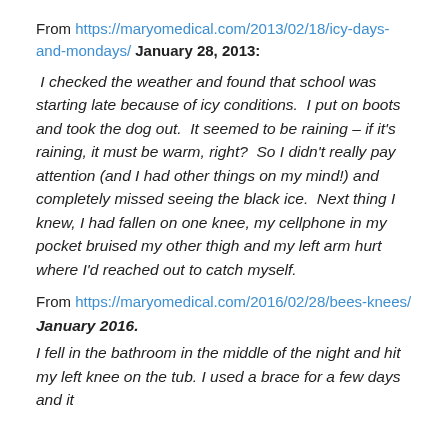From https://maryomedical.com/2013/02/18/icy-days-and-mondays/ January 28, 2013:
I checked the weather and found that school was starting late because of icy conditions. I put on boots and took the dog out. It seemed to be raining – if it's raining, it must be warm, right? So I didn't really pay attention (and I had other things on my mind!) and completely missed seeing the black ice. Next thing I knew, I had fallen on one knee, my cellphone in my pocket bruised my other thigh and my left arm hurt where I'd reached out to catch myself.
From https://maryomedical.com/2016/02/28/bees-knees/
January 2016.
I fell in the bathroom in the middle of the night and hit my left knee on the tub. I used a brace for a few days and it